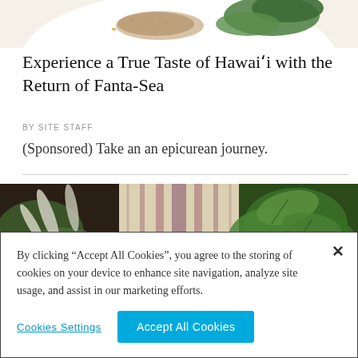[Figure (photo): Top portion of a plated food dish with orange garnish and green leaves on a white plate]
Experience a True Taste of Hawaiʻi with the Return of Fanta-Sea
BY SITE STAFF
(Sponsored) Take an an epicurean journey.
[Figure (photo): Collage of tropical plants: green leaves, purple and cream striped plant, and green foliage]
By clicking “Accept All Cookies”, you agree to the storing of cookies on your device to enhance site navigation, analyze site usage, and assist in our marketing efforts.